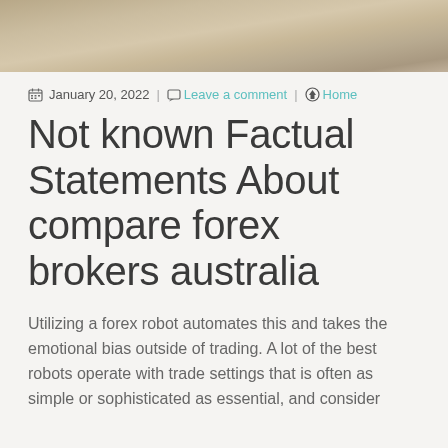[Figure (photo): Banner photo showing hands on a keyboard/desk, partially cropped at top of page]
January 20, 2022  |  Leave a comment  |  Home
Not known Factual Statements About compare forex brokers australia
Utilizing a forex robot automates this and takes the emotional bias outside of trading. A lot of the best robots operate with trade settings that is often as simple or sophisticated as essential, and consider